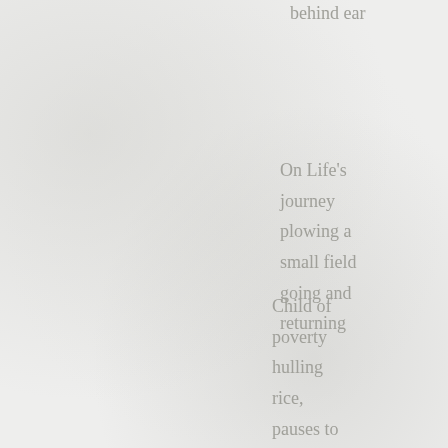behind ear
On Life's
journey
plowing a
small field
going and
returning
Child of
poverty
hulling
rice,
pauses to
look at the
moon